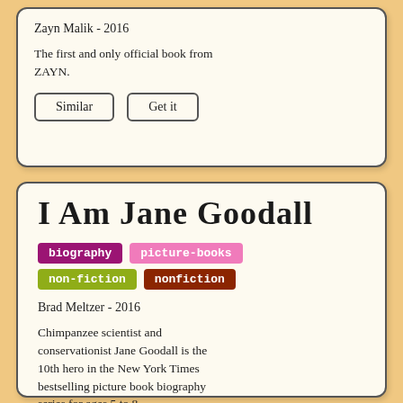Zayn Malik - 2016
The first and only official book from ZAYN.
Similar
Get it
I Am Jane Goodall
biography
picture-books
non-fiction
nonfiction
Brad Meltzer - 2016
Chimpanzee scientist and conservationist Jane Goodall is the 10th hero in the New York Times bestselling picture book biography series for ages 5 to 8.